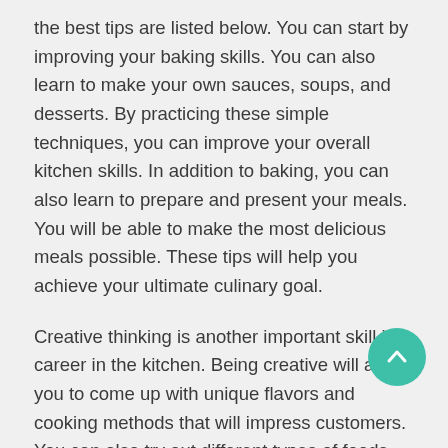the best tips are listed below. You can start by improving your baking skills. You can also learn to make your own sauces, soups, and desserts. By practicing these simple techniques, you can improve your overall kitchen skills. In addition to baking, you can also learn to prepare and present your meals. You will be able to make the most delicious meals possible. These tips will help you achieve your ultimate culinary goal.
Creative thinking is another important skill in a career in the kitchen. Being creative will allow you to come up with unique flavors and cooking methods that will impress customers. You can also try out different types of foods and cooking methods to make them more interesting. In addition to this, you can learn new things about the food while working. If you have a strong sense of imagination, you may even be able to get hired f TV show based on your creative skills.
The first step in developing your cooking skills is to learn about